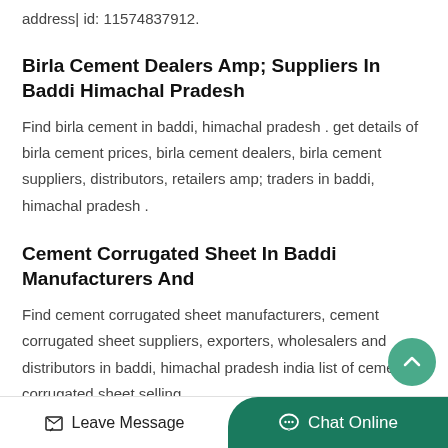address| id: 11574837912.
Birla Cement Dealers Amp; Suppliers In Baddi Himachal Pradesh
Find birla cement in baddi, himachal pradesh . get details of birla cement prices, birla cement dealers, birla cement suppliers, distributors, retailers amp; traders in baddi, himachal pradesh .
Cement Corrugated Sheet In Baddi Manufacturers And
Find cement corrugated sheet manufacturers, cement corrugated sheet suppliers, exporters, wholesalers and distributors in baddi, himachal pradesh india list of cement corrugated sheet selling…
Leave Message   Chat Online